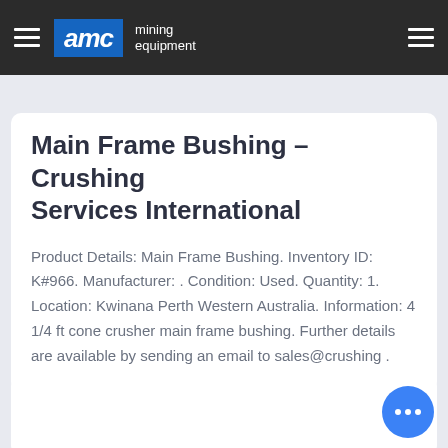AMC mining equipment
Main Frame Bushing – Crushing Services International
Product Details: Main Frame Bushing. Inventory ID: K#966. Manufacturer: . Condition: Used. Quantity: 1. Location: Kwinana Perth Western Australia. Information: 4 1/4 ft cone crusher main frame bushing. Further details are available by sending an email to sales@crushing .